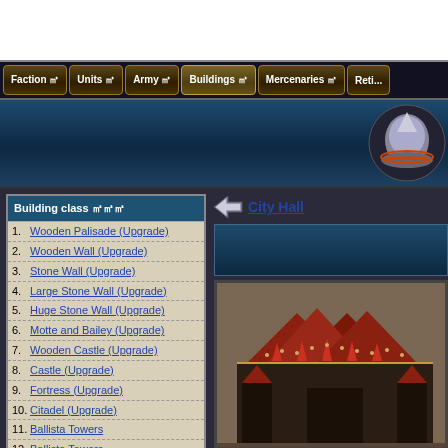[Figure (screenshot): White top banner area of a game website]
Faction | Units | Army | Buildings | Mercenaries | Retinue navigation tabs
[Figure (screenshot): Blue header area with helmet/shield icon on right]
Building class
1. Wooden Palisade (Upgrade)
2. Wooden Wall (Upgrade)
3. Stone Wall (Upgrade)
4. Large Stone Wall (Upgrade)
5. Huge Stone Wall (Upgrade)
6. Motte and Bailey (Upgrade)
7. Wooden Castle (Upgrade)
8. Castle (Upgrade)
9. Fortress (Upgrade)
10. Citadel (Upgrade)
11. Ballista Towers
12. Ballista Towers
City Hall
[Figure (screenshot): Building image showing a dark medieval structure with red spiked rooftops, viewed from above at an angle]